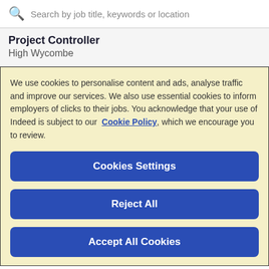Search by job title, keywords or location
Project Controller
High Wycombe
We use cookies to personalise content and ads, analyse traffic and improve our services. We also use essential cookies to inform employers of clicks to their jobs. You acknowledge that your use of Indeed is subject to our Cookie Policy, which we encourage you to review.
Cookies Settings
Reject All
Accept All Cookies